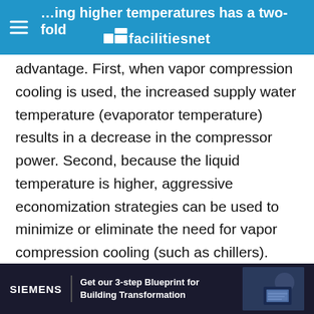…ing higher temperatures has a two-fold — facilitiesnet
advantage. First, when vapor compression cooling is used, the increased supply water temperature (evaporator temperature) results in a decrease in the compressor power. Second, because the liquid temperature is higher, aggressive economization strategies can be used to minimize or eliminate the need for vapor compression cooling (such as chillers). Depending on the chosen liquid temperature, using cooling towers or fluid coolers alone will maintain the liquid temperature. In some cases vapor compression equipment can be
[Figure (advertisement): Siemens advertisement banner: 'Get our 3-step Blueprint for Building Transformation' with dark navy background and image of person with tablet]